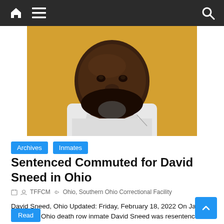Navigation bar with home, menu, and search icons
[Figure (photo): Mugshot-style photo of David Sneed, a middle-aged Black man with a beard, wearing a white shirt, against a yellow background]
Archives   Inmates
Sentenced Commuted for David Sneed in Ohio
TFFCM   Ohio, Southern Ohio Correctional Facility
David Sneed, Ohio Updated: Friday, February 18, 2022 On January 31, 2022, Ohio death row inmate David Sneed was resentenced